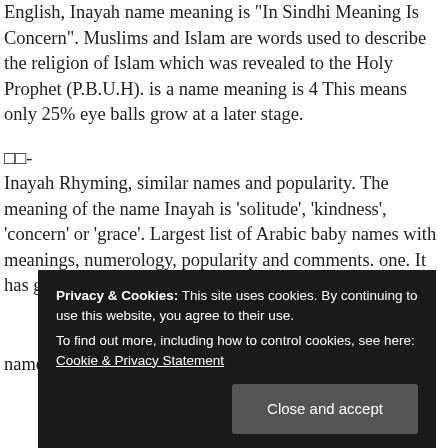English, Inayah name meaning is 'In Sindhi Meaning Is Concern'. Muslims and Islam are words used to describe the religion of Islam which was revealed to the Holy Prophet (P.B.U.H). is a name meaning is 4 This means only 25% eye balls grow at a later stage.
□□-
Inayah Rhyming, similar names and popularity. The meaning of the name Inayah is 'solitude', 'kindness', 'concern' or 'grace'. Largest list of Arabic baby names with meanings, numerology, popularity and comments. one. It has great im... na... tit... m... th... name Inayah is of.
Privacy & Cookies: This site uses cookies. By continuing to use this website, you agree to their use.
To find out more, including how to control cookies, see here: Cookie & Privacy Statement
Close and accept